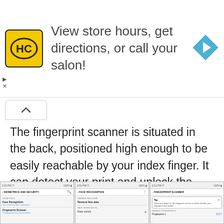[Figure (screenshot): Advertisement banner for a hair salon with HC logo in yellow circle, text 'View store hours, get directions, or call your salon!' and a blue navigation arrow icon on the right]
The fingerprint scanner is situated in the back, positioned high enough to be easily reachable by your index finger. It can detect your print and unlock the device accurately. Although it takes a second and at least one to two tries before it gets it right. Which is definitely not the best that we've seen.
[Figure (screenshot): Three smartphone screenshots showing Biometrics and Security settings, Face Recognition settings, and Fingerprint Scanner settings with a tip popup.]